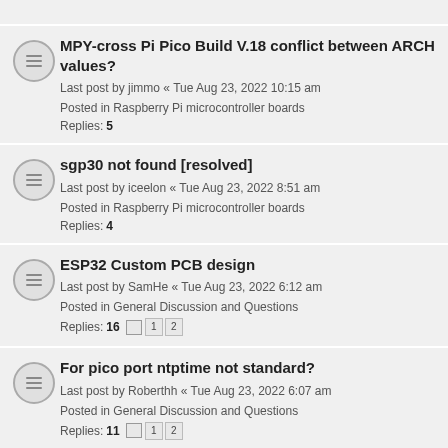MPY-cross Pi Pico Build V.18 conflict between ARCH values?
Last post by jimmo « Tue Aug 23, 2022 10:15 am
Posted in Raspberry Pi microcontroller boards
Replies: 5
sgp30 not found [resolved]
Last post by iceelon « Tue Aug 23, 2022 8:51 am
Posted in Raspberry Pi microcontroller boards
Replies: 4
ESP32 Custom PCB design
Last post by SamHe « Tue Aug 23, 2022 6:12 am
Posted in General Discussion and Questions
Replies: 16
For pico port ntptime not standard?
Last post by Roberthh « Tue Aug 23, 2022 6:07 am
Posted in General Discussion and Questions
Replies: 11
Older version of Pico SDK embedded in MicroPython repo?